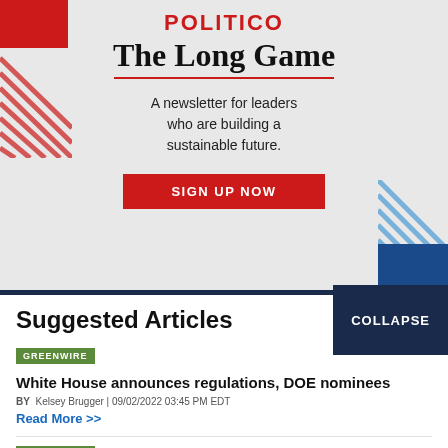[Figure (illustration): POLITICO The Long Game newsletter advertisement with red and blue geometric decorations, tagline 'A newsletter for leaders who are building a sustainable future.' and a red SIGN UP NOW button]
Suggested Articles
GREENWIRE
White House announces regulations, DOE nominees
BY Kelsey Brugger | 09/02/2022 03:45 PM EDT
Read More >>
GREENWIRE
Murkowski, GOP challenger clash over Haaland, drilling,